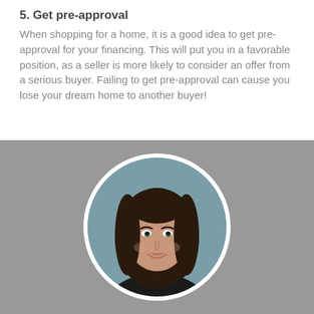5. Get pre-approval
When shopping for a home, it is a good idea to get pre-approval for your financing. This will put you in a favorable position, as a seller is more likely to consider an offer from a serious buyer. Failing to get pre-approval can cause you lose your dream home to another buyer!
[Figure (photo): Circular portrait photo of a woman with long dark brown hair, wearing a black top, smiling, against a muted teal/grey studio background. The photo is framed in a white circular border on a grey background.]